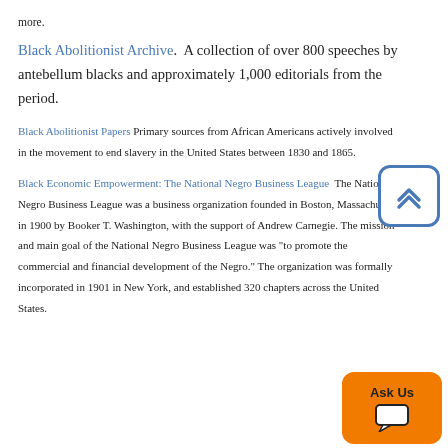more.
Black Abolitionist Archive.  A collection of over 800 speeches by antebellum blacks and approximately 1,000 editorials from the period.
Black Abolitionist Papers Primary sources from African Americans actively involved in the movement to end slavery in the United States between 1830 and 1865.
Black Economic Empowerment: The National Negro Business League  The National Negro Business League was a business organization founded in Boston, Massachusetts in 1900 by Booker T. Washington, with the support of Andrew Carnegie. The mission and main goal of the National Negro Business League was "to promote the commercial and financial development of the Negro." The organization was formally incorporated in 1901 in New York, and established 320 chapters across the United States.